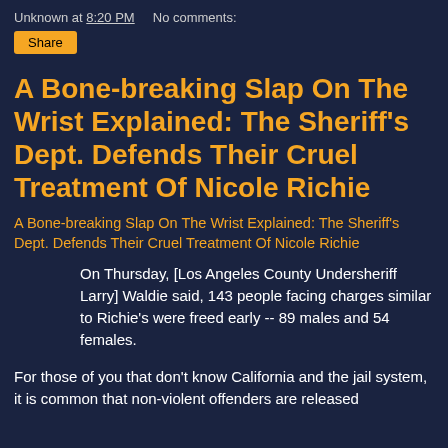Unknown at 8:20 PM    No comments:
Share
A Bone-breaking Slap On The Wrist Explained: The Sheriff's Dept. Defends Their Cruel Treatment Of Nicole Richie
A Bone-breaking Slap On The Wrist Explained: The Sheriff's Dept. Defends Their Cruel Treatment Of Nicole Richie
On Thursday, [Los Angeles County Undersheriff Larry] Waldie said, 143 people facing charges similar to Richie's were freed early -- 89 males and 54 females.
For those of you that don't know California and the jail system, it is common that non-violent offenders are released